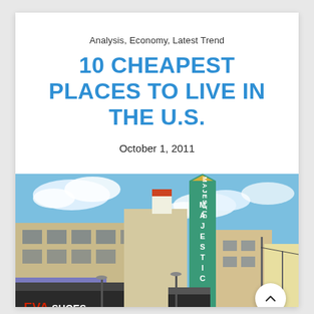Analysis, Economy, Latest Trend
10 CHEAPEST PLACES TO LIVE IN THE U.S.
October 1, 2011
[Figure (photo): Street-level photo of a small American downtown showing the Majestic theater sign, EVA Shoes storefront, and other retail buildings under a partly cloudy blue sky.]